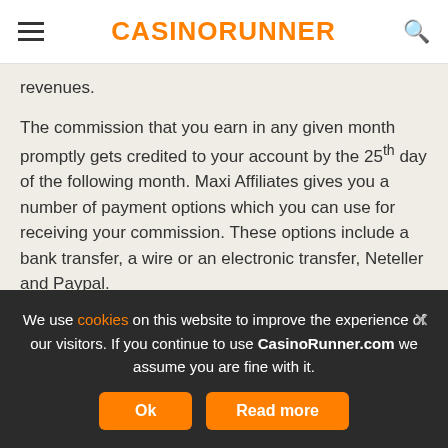CASINORUNNER
revenues.
The commission that you earn in any given month promptly gets credited to your account by the 25th day of the following month. Maxi Affiliates gives you a number of payment options which you can use for receiving your commission. These options include a bank transfer, a wire or an electronic transfer, Neteller and Paypal.
Other Features
Maxi Affiliates allows you to use a wide variety of highly effective reporting as well as marketing tools and techniques. Some of its tools include the use of advanced tracking applications that enable
We use cookies on this website to improve the experience of our visitors. If you continue to use CasinoRunner.com we assume you are fine with it.